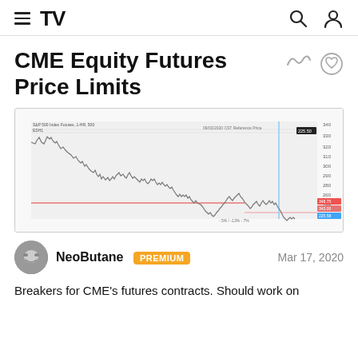TradingView header with hamburger menu, TV logo, search icon, user icon
CME Equity Futures Price Limits
[Figure (continuous-plot): Line chart showing S&P 500 futures price declining from high levels around 330+ down to approximately 220-230 range, with a horizontal red line indicating a price limit level and a vertical blue line with annotation. Price axis on right side shows values from roughly 220 to 340. Time axis along bottom.]
NeoButane   PREMIUM   Mar 17, 2020
Breakers for CME's futures contracts. Should work on